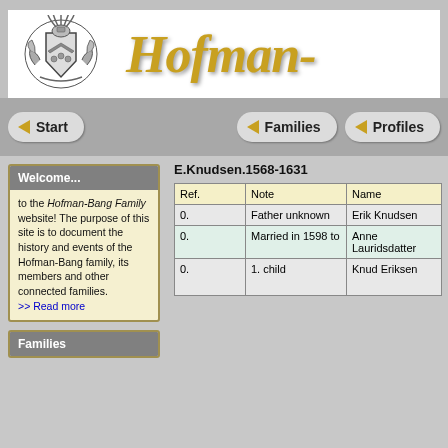[Figure (illustration): Coat of arms / heraldic emblem in black and white]
Hofman-
Start | Families | Profiles
E.Knudsen.1568-1631
Welcome... to the Hofman-Bang Family website! The purpose of this site is to document the history and events of the Hofman-Bang family, its members and other connected families. >> Read more
Families
| Ref. | Note | Name |
| --- | --- | --- |
| 0. | Father unknown | Erik Knudsen |
| 0. | Married in 1598 to | Anne Lauridsdatter |
| 0. | 1. child | Knud Eriksen |